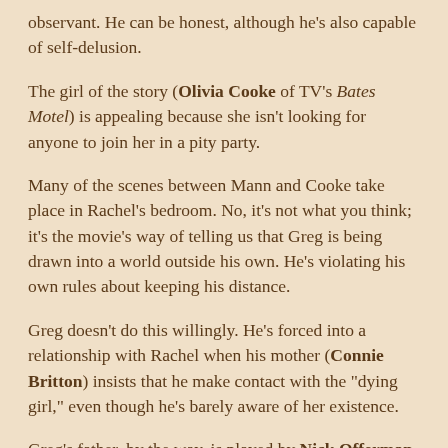observant. He can be honest, although he's also capable of self-delusion.
The girl of the story (Olivia Cooke of TV's Bates Motel) is appealing because she isn't looking for anyone to join her in a pity party.
Many of the scenes between Mann and Cooke take place in Rachel's bedroom. No, it's not what you think; it's the movie's way of telling us that Greg is being drawn into a world outside his own. He's violating his own rules about keeping his distance.
Greg doesn't do this willingly. He's forced into a relationship with Rachel when his mother (Connie Britton) insists that he make contact with the "dying girl," even though he's barely aware of her existence.
Greg's father, by the way, is played by Nick Offerman, who brings oddball spin to his character.
Molly Shannon portrays Rachel's mother, a woman who's dealing with her calamity by drinking a little too much wine.